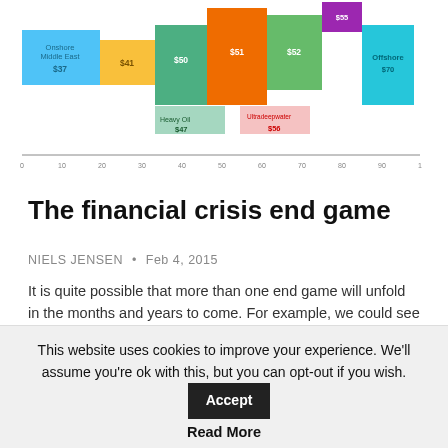[Figure (bar-chart): Horizontal stacked bar chart showing oil types and price ranges, including Onshore Middle East ($37), $41, $50, $51, $52, $55, Offshore $70, Heavy Oil $47, Ultradeepwater $56, with x-axis from 0 to 1]
The financial crisis end game
NIELS JENSEN • Feb 4, 2015
It is quite possible that more than one end game will unfold in the months and years to come. For example, we could see a Greek Eurozone exit. Simultaneously, we could have a crisis unfolding across emerging markets, as the strong U.S....
[Figure (line-chart): Line chart with MARKETS badge showing financial volatility with annotations: Lehman fails, Eurozone sovereign crisis, Bernan taperings (May 2...). Y-axis labels: Standard deviation, Average, -1 Standard deviation. Dark blue line showing market volatility over time.]
This website uses cookies to improve your experience. We'll assume you're ok with this, but you can opt-out if you wish.
Read More